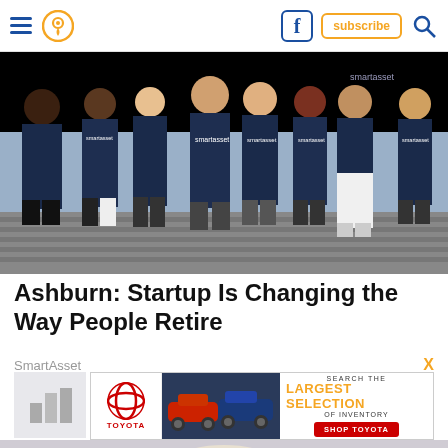Navigation bar with hamburger menu, location pin icon, Facebook icon, subscribe button, search icon
[Figure (photo): Group photo of approximately 10 people wearing SmartAsset branded navy blue t-shirts, standing outdoors on a cobblestone street]
Ashburn: Startup Is Changing the Way People Retire
SmartAsset
[Figure (photo): Toyota advertisement: Search the Largest Selection of Inventory - Shop Toyota, with images of Toyota vehicles]
[Figure (photo): Partial view of a person's head with light/blonde hair at the bottom of the page]